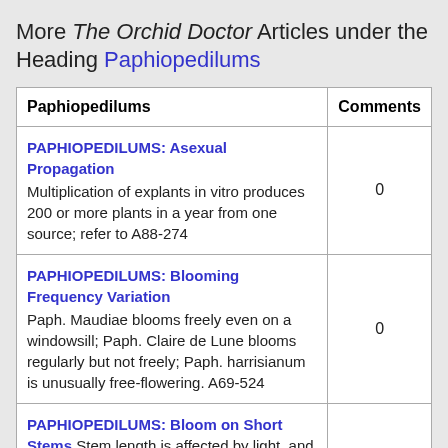More The Orchid Doctor Articles under the Heading Paphiopedilums
| Paphiopedilums | Comments |
| --- | --- |
| PAPHIOPEDILUMS: Asexual Propagation Multiplication of explants in vitro produces 200 or more plants in a year from one source; refer to A88-274 | 0 |
| PAPHIOPEDILUMS: Blooming Frequency Variation Paph. Maudiae blooms freely even on a windowsill; Paph. Claire de Lune blooms regularly but not freely; Paph. harrisianum is unusually free-flowering. A69-524 | 0 |
| PAPHIOPEDILUMS: Bloom on Short Stems Stem length is affected by light, and strong light tends to produce short stems; heavy shade is conducive to long stems; Paph. Maudiae can produce very long stems. A75-192 | 0 |
| PAPHIOPEDILUMS: Breeding Its history in Europe with the outstanding hybrids in perspective; an | 0 |